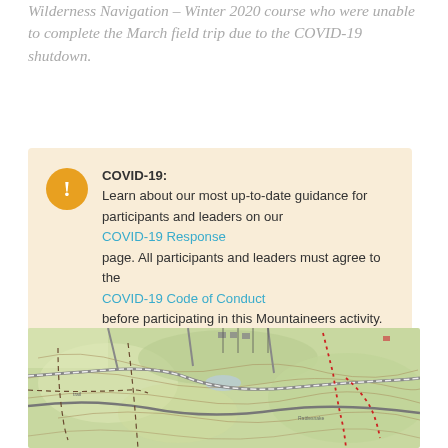Wilderness Navigation – Winter 2020 course who were unable to complete the March field trip due to the COVID-19 shutdown.
COVID-19: Learn about our most up-to-date guidance for participants and leaders on our COVID-19 Response page. All participants and leaders must agree to the COVID-19 Code of Conduct before participating in this Mountaineers activity.
[Figure (map): Topographic map showing terrain with contour lines, roads, trails, and green forested areas. Dashed lines indicate trails or boundaries. A red dotted trail is visible on the right side.]